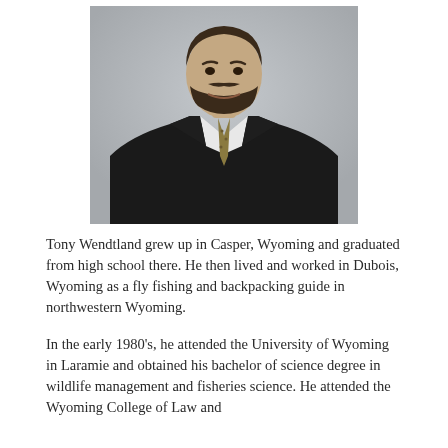[Figure (photo): Professional headshot of Tony Wendtland wearing a dark suit and gold/brown tie, with a beard, against a grey background]
Tony Wendtland grew up in Casper, Wyoming and graduated from high school there. He then lived and worked in Dubois, Wyoming as a fly fishing and backpacking guide in northwestern Wyoming.
In the early 1980's, he attended the University of Wyoming in Laramie and obtained his bachelor of science degree in wildlife management and fisheries science. He attended the Wyoming College of Law and